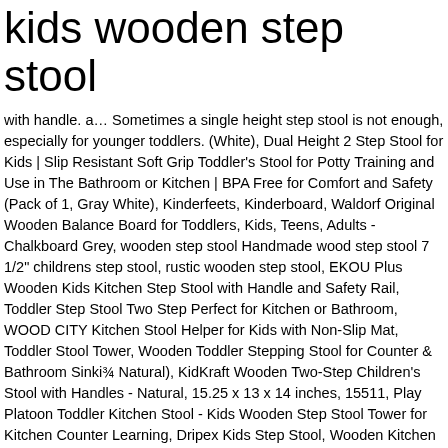kids wooden step stool
with handle. a… Sometimes a single height step stool is not enough, especially for younger toddlers. (White), Dual Height 2 Step Stool for Kids | Slip Resistant Soft Grip Toddler's Stool for Potty Training and Use in The Bathroom or Kitchen | BPA Free for Comfort and Safety (Pack of 1, Gray White), Kinderfeets, Kinderboard, Waldorf Original Wooden Balance Board for Toddlers, Kids, Teens, Adults - Chalkboard Grey, wooden step stool Handmade wood step stool 7 1/2" childrens step stool, rustic wooden step stool, EKOU Plus Wooden Kids Kitchen Step Stool with Handle and Safety Rail, Toddler Step Stool Two Step Perfect for Kitchen or Bathroom, WOOD CITY Kitchen Stool Helper for Kids with Non-Slip Mat, Toddler Stool Tower, Wooden Toddler Stepping Stool for Counter & Bathroom Sink(Natural), KidKraft Wooden Two-Step Children's Stool with Handles - Natural, 15.25 x 13 x 14 inches, 15511, Play Platoon Toddler Kitchen Stool - Kids Wooden Step Stool Tower for Kitchen Counter Learning, Dripex Kids Step Stool, Wooden Kitchen Stool with Safety Rail & Double Sided Easel, Adjustable Helper Stool, White, 2 Step Stool for Kids (Gray 2 Pack) | Toddler Stool for Toilet Potty Training | Slip Resistant Soft Grip for Safety as Bathroom Potty Stool & Kitchen Step Stool | Dual Height & Wide Two Step | iLove, GOLDEN SUN Solid Wood Small Stool for Kids Foot Stool Waterproof 6 inch